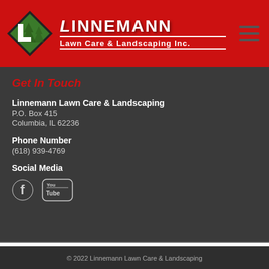[Figure (logo): Linnemann Lawn Care & Landscaping Inc. logo with red background, green diamond shape with white L and tree silhouette, white text brand name and tagline]
Get In Touch
Linnemann Lawn Care & Landscaping
P.O. Box 415
Columbia, IL 62236
Phone Number
(618) 939-4769
Social Media
[Figure (illustration): Facebook and YouTube social media icons in white]
© 2022 Linnemann Lawn Care & Landscaping